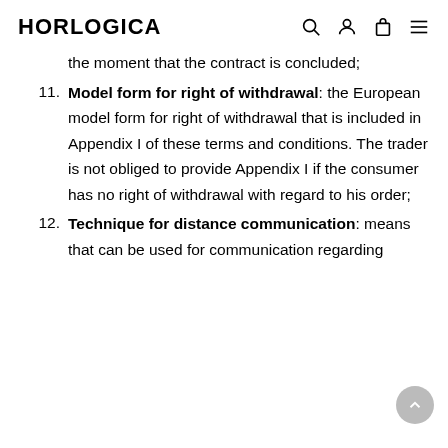HORLOGICA
the moment that the contract is concluded;
11. Model form for right of withdrawal: the European model form for right of withdrawal that is included in Appendix I of these terms and conditions. The trader is not obliged to provide Appendix I if the consumer has no right of withdrawal with regard to his order;
12. Technique for distance communication: means that can be used for communication regarding